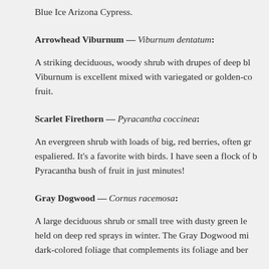Blue Ice Arizona Cypress.
Arrowhead Viburnum — Viburnum dentatum:
A striking deciduous, woody shrub with drupes of deep bl… Viburnum is excellent mixed with variegated or golden-co… fruit.
Scarlet Firethorn — Pyracantha coccinea:
An evergreen shrub with loads of big, red berries, often gr… espaliered. It's a favorite with birds. I have seen a flock of b… Pyracantha bush of fruit in just minutes!
Gray Dogwood — Cornus racemosa:
A large deciduous shrub or small tree with dusty green le… held on deep red sprays in winter. The Gray Dogwood mi… dark-colored foliage that complements its foliage and ber…
Now is a great time to look around at berries. Take note of wh…